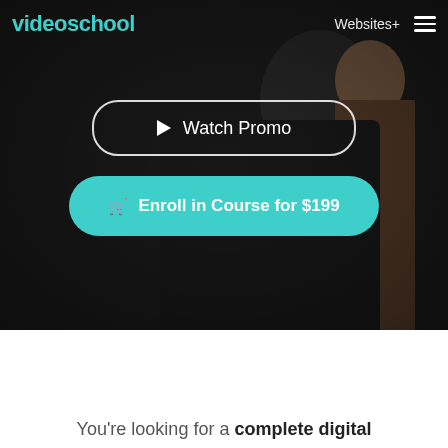[Figure (screenshot): Hero section of Video School website with dark background showing a person in dark clothing. Contains navigation bar with teal 'videoschool' logo, 'Websites+' text, and hamburger menu icon.]
Watch Promo
Enroll in Course for $199
You're looking for a complete digital